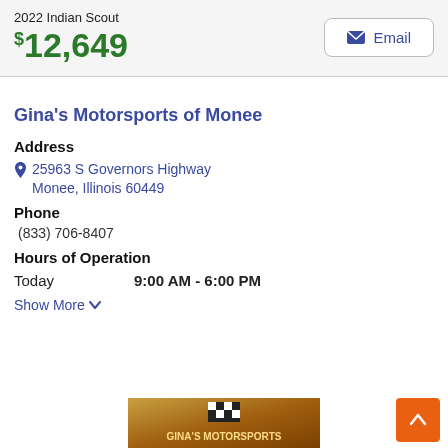2022 Indian Scout $12,649
Email
Gina's Motorsports of Monee
Address
25963 S Governors Highway
Monee, Illinois 60449
Phone
(833) 706-8407
Hours of Operation
Today    9:00 AM - 6:00 PM
Show More
[Figure (logo): Gina's Motorsports logo with checkered flag and ornate lettering on a gold/brown background]